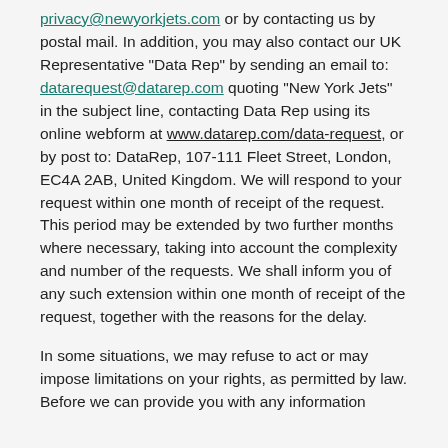privacy@newyorkjets.com or by contacting us by postal mail. In addition, you may also contact our UK Representative "Data Rep" by sending an email to: datarequest@datarep.com quoting "New York Jets" in the subject line, contacting Data Rep using its online webform at www.datarep.com/data-request, or by post to: DataRep, 107-111 Fleet Street, London, EC4A 2AB, United Kingdom. We will respond to your request within one month of receipt of the request. This period may be extended by two further months where necessary, taking into account the complexity and number of the requests. We shall inform you of any such extension within one month of receipt of the request, together with the reasons for the delay.
In some situations, we may refuse to act or may impose limitations on your rights, as permitted by law. Before we can provide you with any information